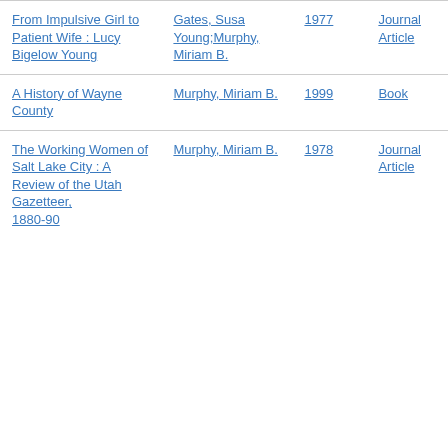| From Impulsive Girl to Patient Wife : Lucy Bigelow Young | Gates, Susa Young;Murphy, Miriam B. | 1977 | Journal Article |
| A History of Wayne County | Murphy, Miriam B. | 1999 | Book |
| The Working Women of Salt Lake City : A Review of the Utah Gazetteer, 1880-90 | Murphy, Miriam B. | 1978 | Journal Article |